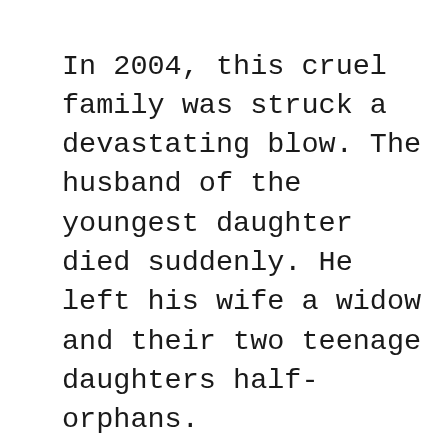In 2004, this cruel family was struck a devastating blow. The husband of the youngest daughter died suddenly. He left his wife a widow and their two teenage daughters half-orphans.

Because my adoptive mother was still alive, I had to drive her to the funeral. I can assure you that no one – NO ONE – approached my adoptive cousin at her husband's